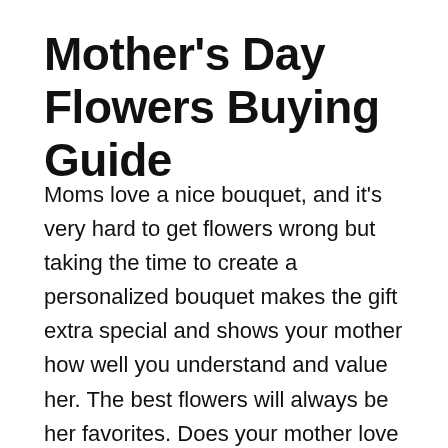Mother's Day Flowers Buying Guide
Moms love a nice bouquet, and it's very hard to get flowers wrong but taking the time to create a personalized bouquet makes the gift extra special and shows your mother how well you understand and value her. The best flowers will always be her favorites. Does your mother love vibrant, vivid colors? How about gerberas, hot pink carnations and purple roses? Is she a Rose girl? Nothing would cheer her up like a bunch of red roses or if she likes soft, subtle colors, how about pristine, avalanche roses with a box of her favorite chocolates? Our diverse collection of bouquets, arrangements and packages is filled with stunning